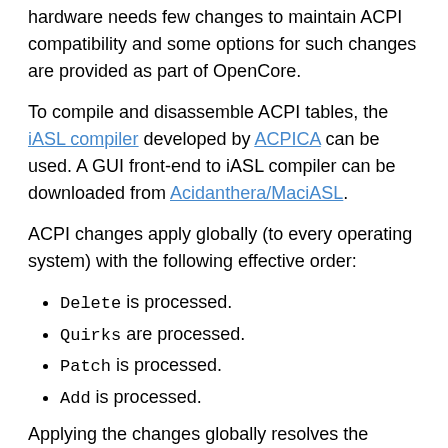hardware needs few changes to maintain ACPI compatibility and some options for such changes are provided as part of OpenCore.
To compile and disassemble ACPI tables, the iASL compiler developed by ACPICA can be used. A GUI front-end to iASL compiler can be downloaded from Acidanthera/MaciASL.
ACPI changes apply globally (to every operating system) with the following effective order:
Delete is processed.
Quirks are processed.
Patch is processed.
Add is processed.
Applying the changes globally resolves the problems of incorrect operating system detection (consistent with the ACPI specification, not possible before the operating system boots), operating system chainloading, and